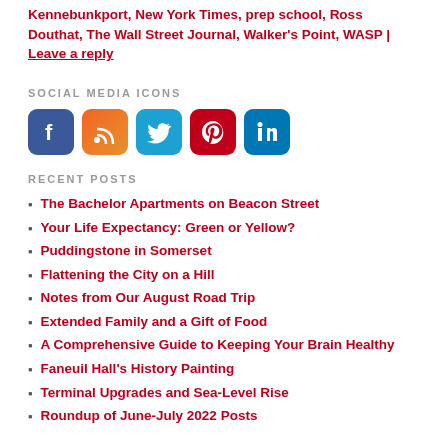Kennebunkport, New York Times, prep school, Ross Douthat, The Wall Street Journal, Walker's Point, WASP | Leave a reply
SOCIAL MEDIA ICONS
[Figure (other): Five social media icon buttons: Facebook (blue), RSS (orange), Twitter (light blue), Pinterest (red), LinkedIn (blue)]
RECENT POSTS
The Bachelor Apartments on Beacon Street
Your Life Expectancy: Green or Yellow?
Puddingstone in Somerset
Flattening the City on a Hill
Notes from Our August Road Trip
Extended Family and a Gift of Food
A Comprehensive Guide to Keeping Your Brain Healthy
Faneuil Hall's History Painting
Terminal Upgrades and Sea-Level Rise
Roundup of June-July 2022 Posts